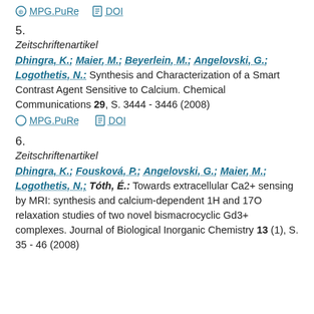MPG.PuRe  DOI
5.
Zeitschriftenartikel
Dhingra, K.; Maier, M.; Beyerlein, M.; Angelovski, G.; Logothetis, N.: Synthesis and Characterization of a Smart Contrast Agent Sensitive to Calcium. Chemical Communications 29, S. 3444 - 3446 (2008)
MPG.PuRe  DOI
6.
Zeitschriftenartikel
Dhingra, K.; Fousková, P.; Angelovski, G.; Maier, M.; Logothetis, N.; Tóth, É.: Towards extracellular Ca2+ sensing by MRI: synthesis and calcium-dependent 1H and 17O relaxation studies of two novel bismacrocyclic Gd3+ complexes. Journal of Biological Inorganic Chemistry 13 (1), S. 35 - 46 (2008)